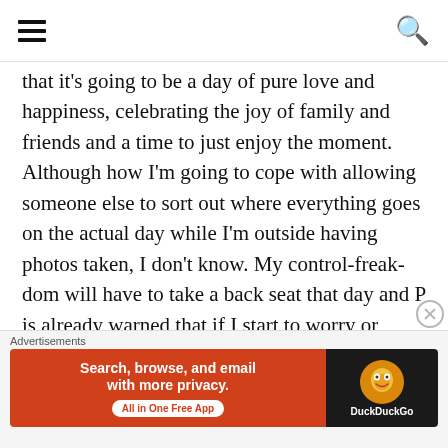that it's going to be a day of pure love and happiness, celebrating the joy of family and friends and a time to just enjoy the moment. Although how I'm going to cope with allowing someone else to sort out where everything goes on the actual day while I'm outside having photos taken, I don't know. My control-freak-dom will have to take a back seat that day and P is already warned that if I start to worry or stress, I must be distracted immediately, preferably with a large
[Figure (other): DuckDuckGo advertisement banner: orange/red background on left with text 'Search, browse, and email with more privacy. All in One Free App' and DuckDuckGo logo on dark right panel]